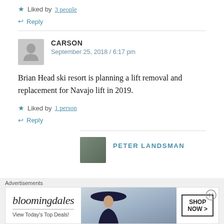★ Liked by 3 people
↩ Reply
CARSON
September 25, 2018 / 6:17 pm
Brian Head ski resort is planning a lift removal and replacement for Navajo lift in 2019.
★ Liked by 1 person
↩ Reply
PETER LANDSMAN
Advertisements
bloomingdales
View Today's Top Deals!
SHOP NOW >